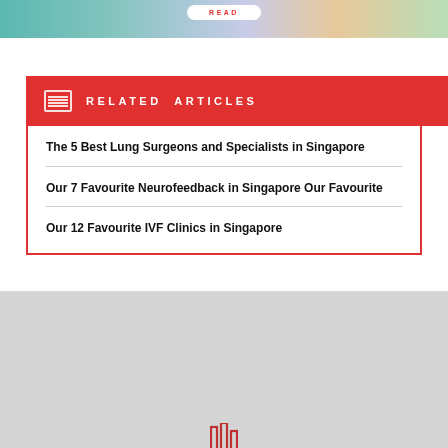[Figure (illustration): Top portion of a webpage showing a teal/colorful illustration with a READ button overlay]
RELATED ARTICLES
The 5 Best Lung Surgeons and Specialists in Singapore
Our 7 Favourite Neurofeedback in Singapore Our Favourite
Our 12 Favourite IVF Clinics in Singapore
[Figure (illustration): Bottom gray footer area with partial red icon visible]